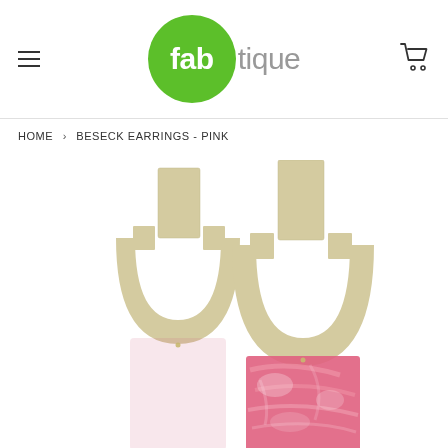[Figure (logo): Fabtique logo: green circle with white text 'fab' in bold and 'tique' in light gray, hamburger menu icon on left, shopping cart icon on right]
HOME › BESECK EARRINGS - PINK
[Figure (photo): Close-up photo of two pink acrylic earrings with gold-tone metal arch/horseshoe shaped top pieces and pink marbled rectangular bottom pendant pieces]